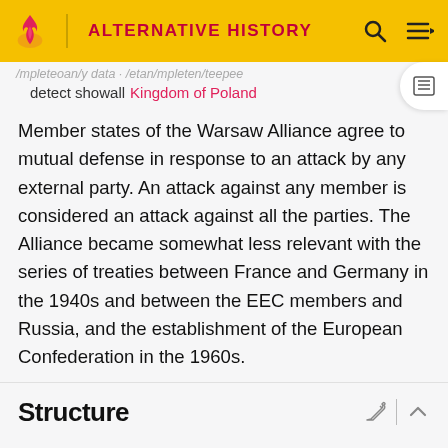ALTERNATIVE HISTORY
detect showall Kingdom of Poland
Member states of the Warsaw Alliance agree to mutual defense in response to an attack by any external party. An attack against any member is considered an attack against all the parties. The Alliance became somewhat less relevant with the series of treaties between France and Germany in the 1940s and between the EEC members and Russia, and the establishment of the European Confederation in the 1960s.
Structure
The Warsaw Alliance has a unified command structure for